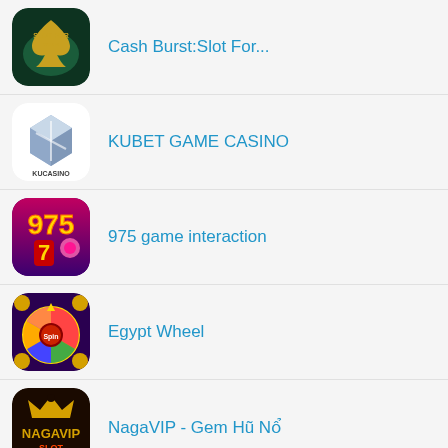Cash Burst:Slot For...
KUBET GAME CASINO
975 game interaction
Egypt Wheel
NagaVIP - Gem Hũ Nổ
(partial icon visible)